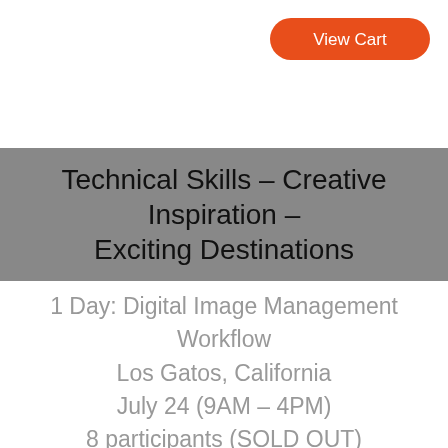[Figure (other): Orange rounded rectangle button labeled 'View Cart' in white text, positioned top-right]
Technical Skills - Creative Inspiration - Exciting Destinations
1 Day: Digital Image Management Workflow
Los Gatos, California
July 24 (9AM – 4PM)
8 participants (SOLD OUT)